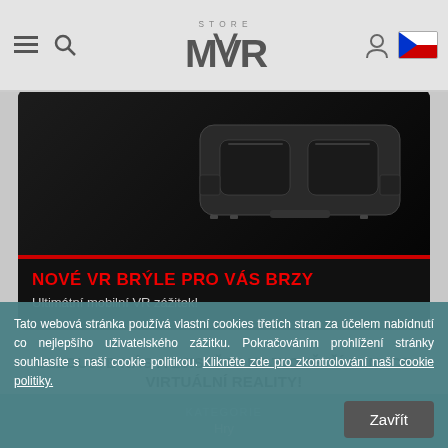Store MVR - navigation bar with hamburger menu, search icon, MVR logo, user icon, Czech flag
[Figure (screenshot): Hero banner showing VR headset device on dark background with red dividing line]
NOVÉ VR BRÝLE PRO VÁS BRZY
Ultimátní mobilní VR zážitek!
SLEDUJTE NÁS A ZJISTĚTE NEJNOVĚJŠÍ FUNKCE VIRTUÁLNÍ REALITY!
Tato webová stránka používá vlastní cookies třetích stran za účelem nabídnutí co nejlepšího uživatelského zážitku. Pokračováním prohlížení stránky souhlasíte s naší cookie politikou. Klikněte zde pro zkontrolování naší cookie politiky.
KATEGORIE
Hry
Zavřít